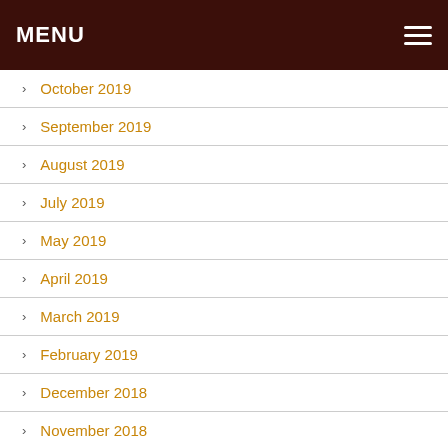MENU
October 2019
September 2019
August 2019
July 2019
May 2019
April 2019
March 2019
February 2019
December 2018
November 2018